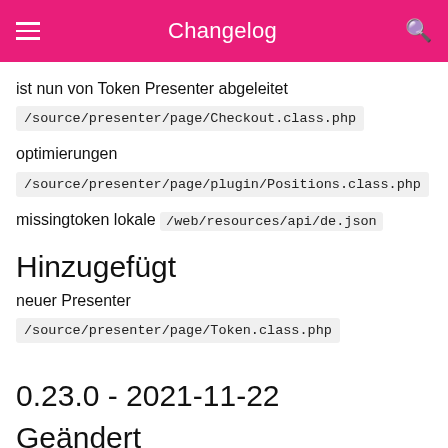Changelog
ist nun von Token Presenter abgeleitet
/source/presenter/page/Checkout.class.php
optimierungen
/source/presenter/page/plugin/Positions.class.php
missingtoken lokale /web/resources/api/de.json
Hinzugefügt
neuer Presenter
/source/presenter/page/Token.class.php
0.23.0 - 2021-11-22
Geändert